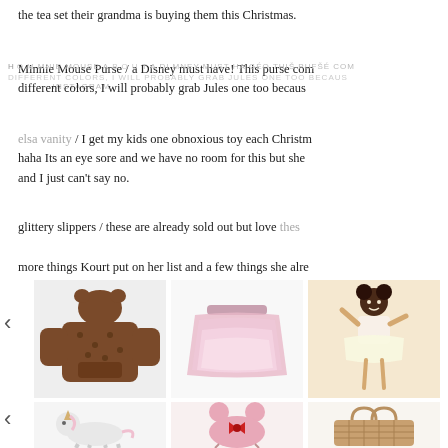the tea set their grandma is buying them this Christmas.
HOME  Minnie Mouse  ABOUT  A  DISNEY  ABOUT  THIS  PURSE  /  INSTAGRAM
Minnie Mouse Purse / a Disney must have! This purse comes in different colors, I will probably grab Jules one too because
elsa vanity / I get my kids one obnoxious toy each Christmas haha Its an eye sore and we have no room for this but she and I just can't say no.
glittery slippers / these are already sold out but love thes
more things Kourt put on her list and a few things she alre
[Figure (photo): Brown leopard print hoodie sweatshirt for kids]
[Figure (photo): Pink ombre tulle skirt for girls]
[Figure (photo): Young girl in white tutu ballerina dress posing]
[Figure (photo): White unicorn toy figurine]
[Figure (photo): Pink Minnie Mouse face shaped purse with red bow]
[Figure (photo): Wicker/rattan picnic basket with handles]